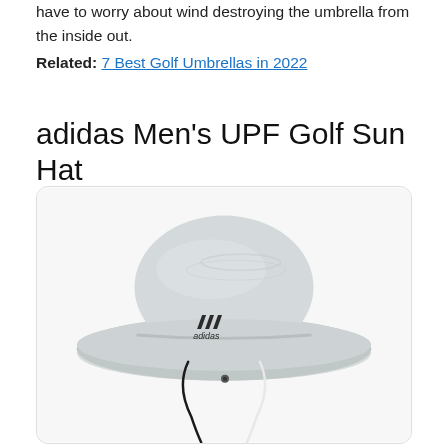have to worry about wind destroying the umbrella from the inside out.
Related: 7 Best Golf Umbrellas in 2022
adidas Men's UPF Golf Sun Hat
[Figure (photo): Adidas Men's UPF Golf Sun Hat — a wide-brim light grey bucket-style sun hat with adidas logo on the front and chin strap cords (black and white) hanging below.]